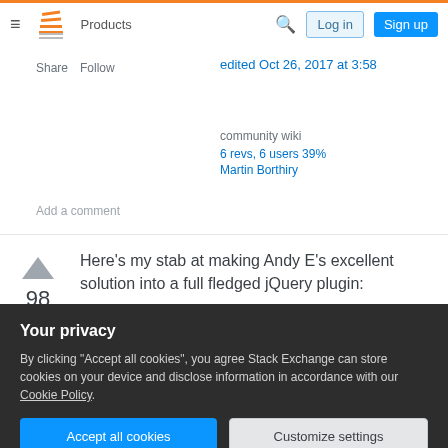≡  [Stack Overflow logo]  Products  🔍  Log in  Sign up
Share   Follow
edited Oct 26, 2017 at 3:58
community wiki
6 revs, 6 users 39%
Martin Borthiry
Add a comment
Here's my stab at making Andy E's excellent solution into a full fledged jQuery plugin:
98
Your privacy
By clicking "Accept all cookies", you agree Stack Exchange can store cookies on your device and disclose information in accordance with our Cookie Policy.
Accept all cookies   Customize settings